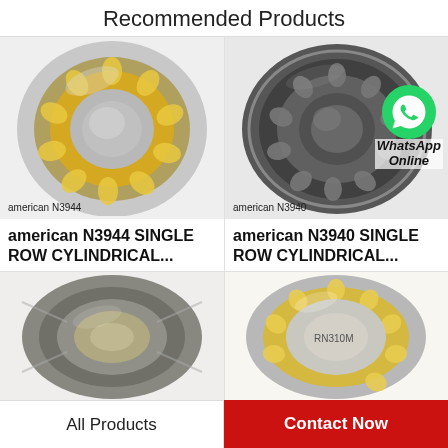Recommended Products
[Figure (photo): Cylindrical roller bearing N3944, silver and gold tones, product image]
american N3944
american N3944 SINGLE ROW CYLINDRICAL...
[Figure (photo): Cylindrical roller bearing N3940, dark grey metallic, product image with WhatsApp Online overlay]
american N3940
american N3940 SINGLE ROW CYLINDRICAL...
[Figure (photo): Tapered roller bearing, grey/bronze tones, partially visible]
[Figure (photo): Cylindrical roller bearing RN310M, silver and gold/yellow cage, partially visible]
All Products
Contact Now